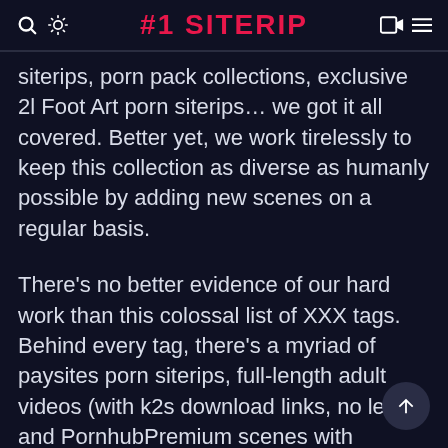#1 SITERIP
siterips, porn pack collections, exclusive 2l Foot Art porn siterips… we got it all covered. Better yet, we work tirelessly to keep this collection as diverse as humanly possible by adding new scenes on a regular basis.
There's no better evidence of our hard work than this colossal list of XXX tags. Behind every tag, there's a myriad of paysites porn siterips, full-length adult videos (with k2s download links, no less), and PornhubPremium scenes with amateurs, for example. All the diversity here is sure to help you broaden your sexual horizons and help you appreciate differen pornographic subgenres and offshoots. With ou eclectic selection, you will be able to look deeper